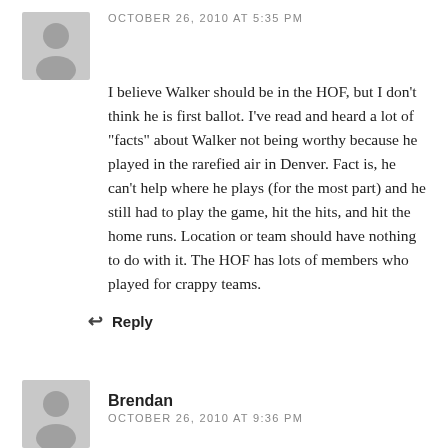OCTOBER 26, 2010 AT 5:35 PM
I believe Walker should be in the HOF, but I don't think he is first ballot. I've read and heard a lot of "facts" about Walker not being worthy because he played in the rarefied air in Denver. Fact is, he can't help where he plays (for the most part) and he still had to play the game, hit the hits, and hit the home runs. Location or team should have nothing to do with it. The HOF has lots of members who played for crappy teams.
Reply
Brendan
OCTOBER 26, 2010 AT 9:36 PM
In your recent Keith Hernandez post, you